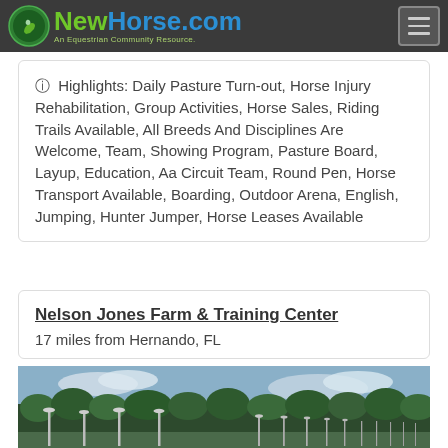NewHorse.com — An Equestrian Community Resource.
Highlights: Daily Pasture Turn-out, Horse Injury Rehabilitation, Group Activities, Horse Sales, Riding Trails Available, All Breeds And Disciplines Are Welcome, Team, Showing Program, Pasture Board, Layup, Education, Aa Circuit Team, Round Pen, Horse Transport Available, Boarding, Outdoor Arena, English, Jumping, Hunter Jumper, Horse Leases Available
Nelson Jones Farm & Training Center
17 miles from Hernando, FL
[Figure (photo): Outdoor arena or facility photo showing lamp posts and trees against a partly cloudy sky]